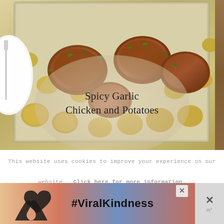[Figure (photo): Overhead view of spicy garlic chicken thighs and roasted potatoes in a foil-lined baking tray, garnished with fresh herbs. A white plate and fork visible on the left side.]
Spicy Garlic Chicken and Potatoes
This website uses cookies to improve your experience on our website. Click here for more information.
[Figure (infographic): Advertisement banner showing hands forming a heart shape against a sunset sky background, with the hashtag #ViralKindness in bold text. Close buttons visible.]